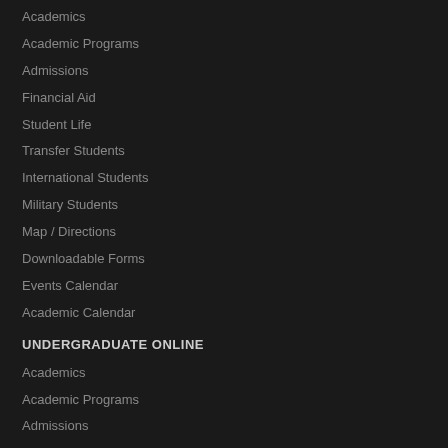Academics
Academic Programs
Admissions
Financial Aid
Student Life
Transfer Students
International Students
Military Students
Map / Directions
Downloadable Forms
Events Calendar
Academic Calendar
UNDERGRADUATE ONLINE
Academics
Academic Programs
Admissions
Financial Aid
Webinar RSVP
International Students
Military Students